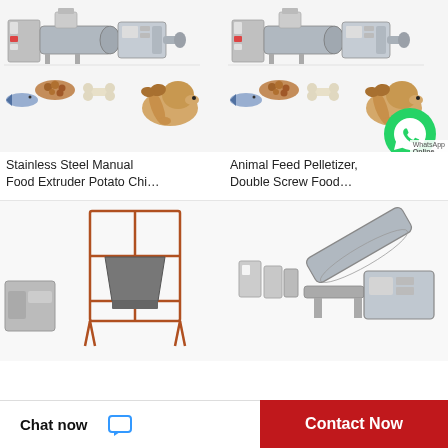[Figure (photo): Stainless steel food extruder machine with pet food samples and a beagle dog, showing industrial machinery components]
Stainless Steel Manual Food Extruder Potato Chi…
[Figure (photo): Animal feed pelletizer double screw food processing machine with pet food samples and a beagle dog, with WhatsApp online chat overlay badge]
Animal Feed Pelletizer, Double Screw Food…
[Figure (photo): Partial view of a hopper/bin frame industrial equipment, bottom of page]
[Figure (photo): Partial view of an industrial screw conveyor or extruder machine, bottom right of page]
Chat now
Contact Now